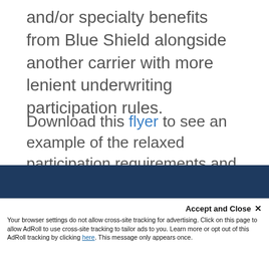and/or specialty benefits from Blue Shield alongside another carrier with more lenient underwriting participation rules.
Download this flyer to see an example of the relaxed participation requirements and get the details.
Specialty Coverage Promotions
Small Business Bundled Savings program offers a 5% discount for groups adding dental and/or
Accept and Close ×
Your browser settings do not allow cross-site tracking for advertising. Click on this page to allow AdRoll to use cross-site tracking to tailor ads to you. Learn more or opt out of this AdRoll tracking by clicking here. This message only appears once.